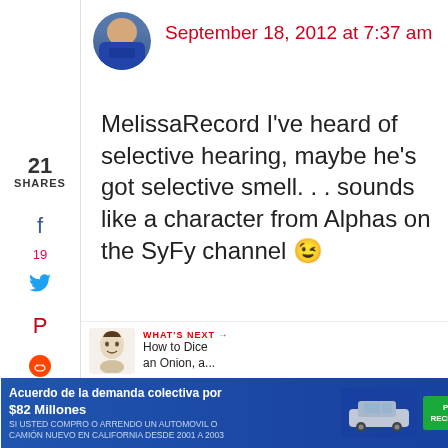September 18, 2012 at 7:37 am
21
SHARES
MelissaRecord I've heard of selective hearing, maybe he's got selective smell. . . sounds like a character from Alphas on the SyFy channel 😉
Reply
23
WHAT'S NEXT → How to Dice an Onion, a...
Melissa Rec...
Acuerdo de la demanda colectiva por $82 Millones SI USTED COMPRO O ARRENDO UN AUTOMOVIL O CAMIÓN NUEVO EN CALIFORNIA DESDE 2001 A 2003